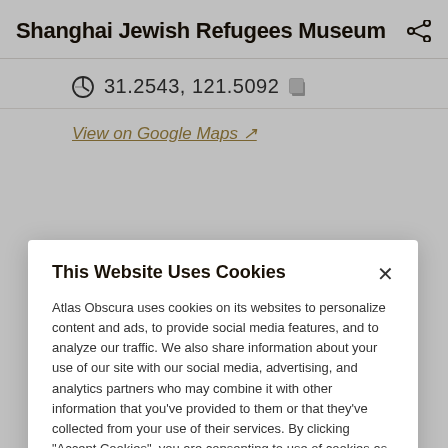Shanghai Jewish Refugees Museum
31.2543, 121.5092
View on Google Maps
This Website Uses Cookies
Atlas Obscura uses cookies on its websites to personalize content and ads, to provide social media features, and to analyze our traffic. We also share information about your use of our site with our social media, advertising, and analytics partners who may combine it with other information that you've provided to them or that they've collected from your use of their services. By clicking "Accept Cookies", you are consenting to use of cookies as described in our Cookie Policy. View Cookie Policy
Manage Preferences
Allow Cookies